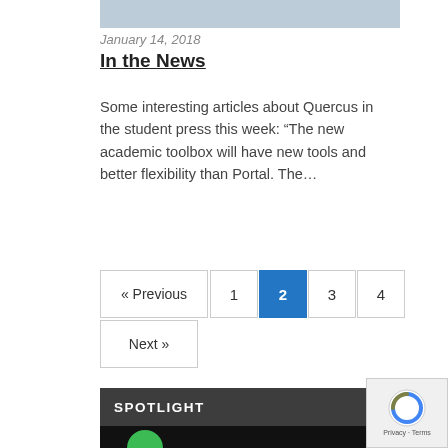[Figure (photo): Partial view of a photo showing people, cropped at top of page]
January 14, 2018
In the News
Some interesting articles about Quercus in the student press this week: “The new academic toolbox will have new tools and better flexibility than Portal. The…
« Previous
1
2
3
4
Next »
SPOTLIGHT
[Figure (photo): Partial view of a photo with dark background and green element visible at bottom]